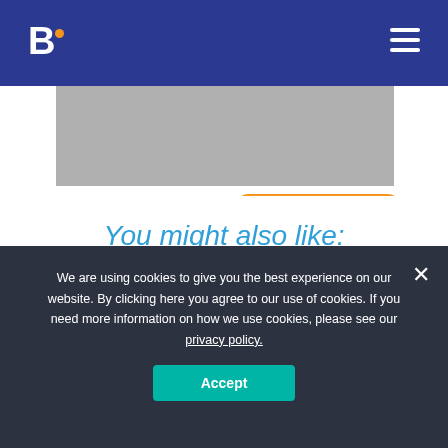B. [logo with dot]
[Figure (illustration): Grey image area with orange rounded button element partially visible]
You might also like:
[Figure (illustration): Blue card with white uppercase text: WHEN SHOULD YOU PUBLISH SPONSORED CONTENT]
We are using cookies to give you the best experience on our website. By clicking here you agree to our use of cookies. If you need more information on how we use cookies, please see our privacy policy.
Accept